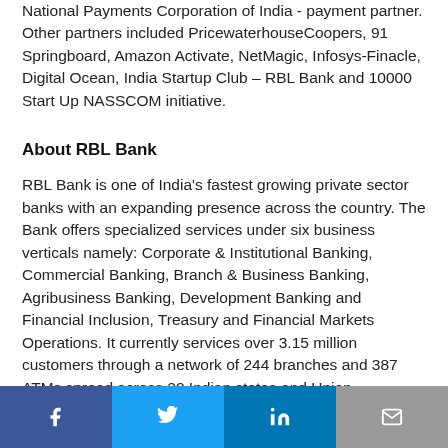National Payments Corporation of India - payment partner. Other partners included PricewaterhouseCoopers, 91 Springboard, Amazon Activate, NetMagic, Infosys-Finacle, Digital Ocean, India Startup Club – RBL Bank and 10000 Start Up NASSCOM initiative.
About RBL Bank
RBL Bank is one of India's fastest growing private sector banks with an expanding presence across the country. The Bank offers specialized services under six business verticals namely: Corporate & Institutional Banking, Commercial Banking, Branch & Business Banking, Agribusiness Banking, Development Banking and Financial Inclusion, Treasury and Financial Markets Operations. It currently services over 3.15 million customers through a network of 244 branches and 387 ATMs spread across 20 Indian states and Union Territories.